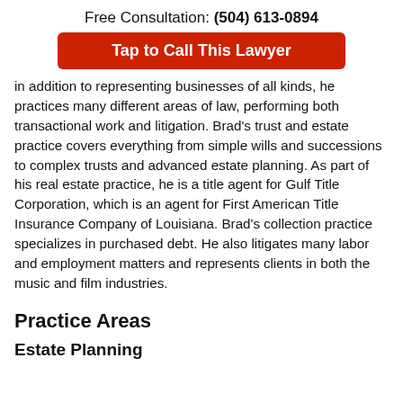Free Consultation: (504) 613-0894
Tap to Call This Lawyer
In addition to representing businesses of all kinds, he practices many different areas of law, performing both transactional work and litigation. Brad's trust and estate practice covers everything from simple wills and successions to complex trusts and advanced estate planning. As part of his real estate practice, he is a title agent for Gulf Title Corporation, which is an agent for First American Title Insurance Company of Louisiana. Brad's collection practice specializes in purchased debt. He also litigates many labor and employment matters and represents clients in both the music and film industries.
Practice Areas
Estate Planning